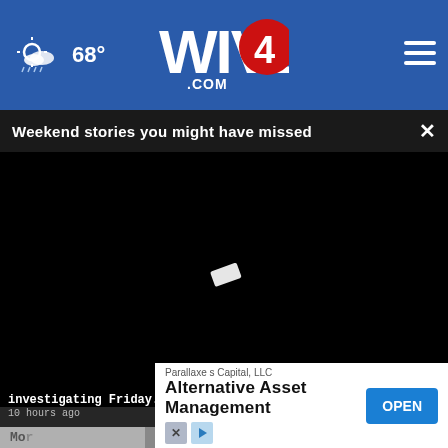[Figure (screenshot): WIVB4.com news website header with blue background showing weather icon, 68° temperature, WIVB4 logo, and hamburger menu]
Weekend stories you might have missed
[Figure (screenshot): Black video player area with a small white play icon in the center]
investigating Friday...
10 hours ago
13 h ago
Sherif
More
Parallaxe s Capital, LLC
Alternative Asset Management
OPEN